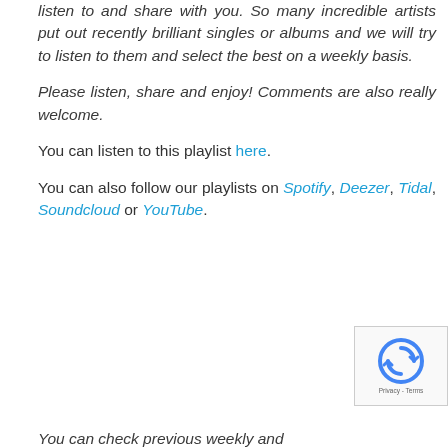listen to and share with you. So many incredible artists put out recently brilliant singles or albums and we will try to listen to them and select the best on a weekly basis.
Please listen, share and enjoy! Comments are also really welcome.
You can listen to this playlist here.
You can also follow our playlists on Spotify, Deezer, Tidal, Soundcloud or YouTube.
[Figure (other): reCAPTCHA privacy and terms widget in bottom right corner]
You can check previous weekly and